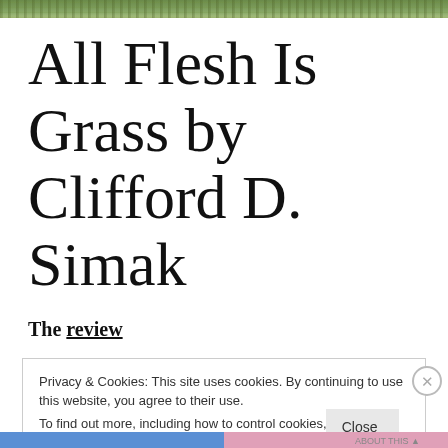[Figure (photo): Partial photo strip of green foliage/grass at top of page]
All Flesh Is Grass by Clifford D. Simak
The review
Privacy & Cookies: This site uses cookies. By continuing to use this website, you agree to their use.
To find out more, including how to control cookies, see here: Cookie Policy
Close and accept